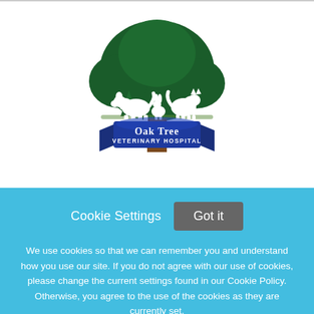[Figure (logo): Oak Tree Veterinary Hospital logo: a large green oak tree with white silhouettes of a dog, cat, and rabbit in front, a brown tree trunk, and a blue banner ribbon at the bottom reading 'Oak Tree VETERINARY HOSPITAL' in white text.]
Cookie Settings
Got it
We use cookies so that we can remember you and understand how you use our site. If you do not agree with our use of cookies, please change the current settings found in our Cookie Policy. Otherwise, you agree to the use of the cookies as they are currently set.